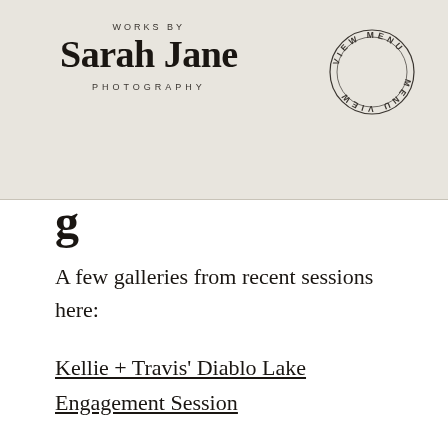WORKS BY Sarah Jane PHOTOGRAPHY
[Figure (logo): Circular stamp/badge with text 'VIEW MENU' repeated around the circumference, with 'VIEW MENU' appearing twice (one upright, one inverted) in a circle with inner border ring]
g
A few galleries from recent sessions here:
Kellie + Travis' Diablo Lake Engagement Session